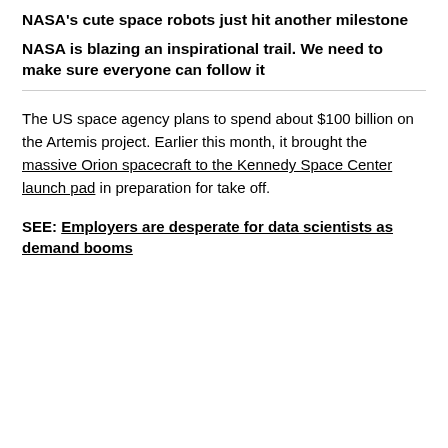NASA's cute space robots just hit another milestone
NASA is blazing an inspirational trail. We need to make sure everyone can follow it
The US space agency plans to spend about $100 billion on the Artemis project. Earlier this month, it brought the massive Orion spacecraft to the Kennedy Space Center launch pad in preparation for take off.
SEE: Employers are desperate for data scientists as demand booms